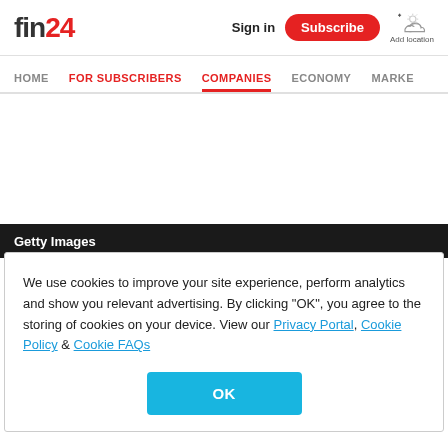fin24 | Sign in | Subscribe | Add location
HOME | FOR SUBSCRIBERS | COMPANIES | ECONOMY | MARKETS
[Figure (other): Advertisement placeholder (blank white space)]
Getty Images
Icasa will conduct a mock auction from 1 to 3 March
We use cookies to improve your site experience, perform analytics and show you relevant advertising. By clicking "OK", you agree to the storing of cookies on your device. View our Privacy Portal, Cookie Policy & Cookie FAQs
OK